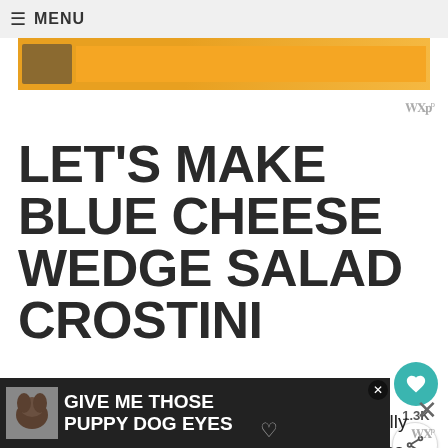≡ MENU
[Figure (illustration): Orange advertisement banner with person image at top of content area]
LET'S MAKE BLUE CHEESE WEDGE SALAD CROSTINI
If you're not familiar with crostini, it's basically Italian for "little toast". Perfect again, since Aggie is Italian! It's an appetizer consisting of slices of crunchy to... va...
[Figure (illustration): Bottom advertisement banner: GIVE ME THOSE PUPPY DOG EYES with dog image]